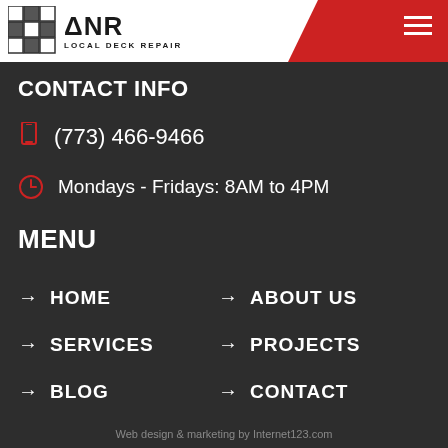[Figure (logo): ANR Local Deck Repair logo with grid cube icon, black text on white background, red diagonal slash in top right corner with hamburger menu icon]
CONTACT INFO
(773) 466-9466
Mondays - Fridays: 8AM to 4PM
MENU
→ HOME
→ ABOUT US
→ SERVICES
→ PROJECTS
→ BLOG
→ CONTACT
Web design & marketing by Internet123.com